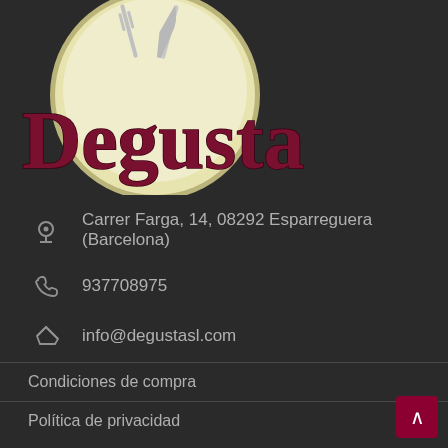[Figure (logo): Degusta restaurant logo with cream/yellow circle and silver cutlery (fork and knife) on dark background, with large dark red serif text 'Degusta']
Carrer Farga, 14, 08292 Esparreguera (Barcelona)
937708975
info@degustasl.com
Condiciones de compra
Política de privacidad